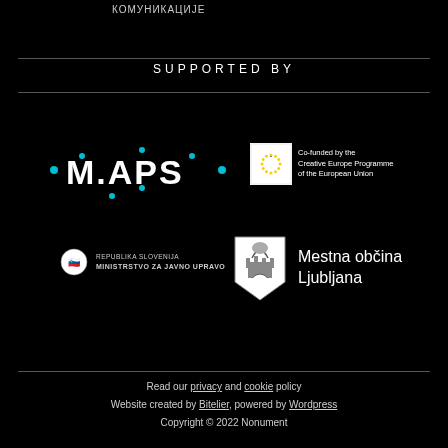КОМУНИКАЦИЈЕ
SUPPORTED BY
[Figure (logo): MAPS logo with cyan dots on black background]
[Figure (logo): EU Creative Europe Programme logo with circular stars and text: Co-funded by the Creative Europe Programme of the European Union]
[Figure (logo): Republika Slovenija Ministrstvo za Javno Upravo shield logo with text]
[Figure (logo): Mestna občina Ljubljana coat of arms shield logo with castle and dragon]
Read our privacy and cookie policy
Website created by Bitelier, powered by Wordpress
Copyright © 2022 Nonument